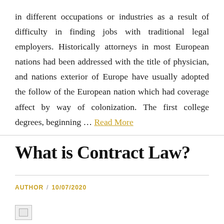in different occupations or industries as a result of difficulty in finding jobs with traditional legal employers. Historically attorneys in most European nations had been addressed with the title of physician, and nations exterior of Europe have usually adopted the follow of the European nation which had coverage affect by way of colonization. The first college degrees, beginning … Read More
What is Contract Law?
AUTHOR / 10/07/2020